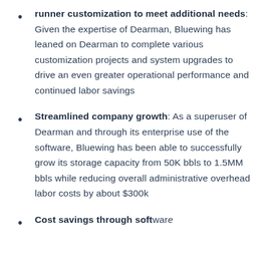runner customization to meet additional needs: Given the expertise of Dearman, Bluewing has leaned on Dearman to complete various customization projects and system upgrades to drive an even greater operational performance and continued labor savings
Streamlined company growth: As a superuser of Dearman and through its enterprise use of the software, Bluewing has been able to successfully grow its storage capacity from 50K bbls to 1.5MM bbls while reducing overall administrative overhead labor costs by about $300k
Cost savings through software...